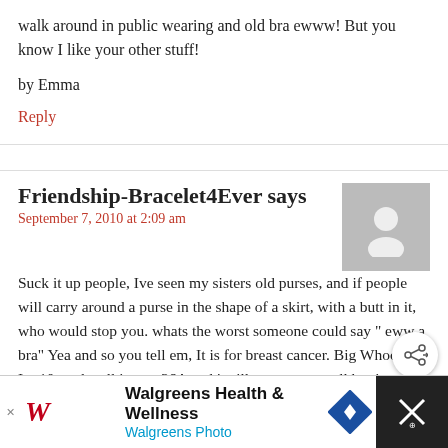walk around in public wearing and old bra ewww! But you know I like your other stuff!
by Emma
Reply
Friendship-Bracelet4Ever says
September 7, 2010 at 2:09 am
[Figure (illustration): Gray avatar placeholder image showing a silhouette of a person]
Suck it up people, Ive seen my sisters old purses, and if people will carry around a purse in the shape of a skirt, with a butt in it, who would stop you. whats the worst someone could say " eww a bra" Yea and so you tell em, It is for breast cancer. Big Whoop! Im 10, and well i am a 36A and i will use some small bra i grew out of for cute wallets. So what if a man seen bras all over nick, and so if my dad or brothers see it,
[Figure (infographic): Walgreens Health & Wellness advertisement banner with Walgreens logo and Walgreens Photo text]